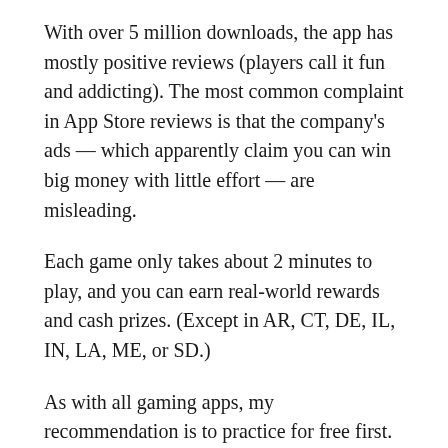With over 5 million downloads, the app has mostly positive reviews (players call it fun and addicting). The most common complaint in App Store reviews is that the company's ads — which apparently claim you can win big money with little effort — are misleading.
Each game only takes about 2 minutes to play, and you can earn real-world rewards and cash prizes. (Except in AR, CT, DE, IL, IN, LA, ME, or SD.)
As with all gaming apps, my recommendation is to practice for free first. Then, never put more money at risk than you can afford to lose.
9. Become a Virtual Assistant: